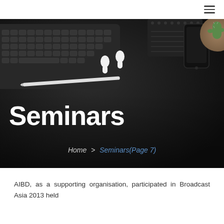≡ (hamburger menu)
[Figure (photo): Dark desk flatlay photo with keyboard, wireless earbuds (AirPods), notebook, smartphone, cactus, and stylus pen as background for Seminars page header]
Seminars
Home > Seminars(Page 7)
AIBD, as a supporting organisation, participated in Broadcast Asia 2013 held